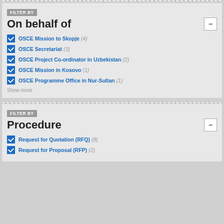FILTER BY
On behalf of
OSCE Mission to Skopje (4)
OSCE Secretariat (3)
OSCE Project Co-ordinator in Uzbekistan (2)
OSCE Mission in Kosovo (1)
OSCE Programme Office in Nur-Sultan (1)
Show more
FILTER BY
Procedure
Request for Quotation (RFQ) (8)
Request for Proposal (RFP) (2)